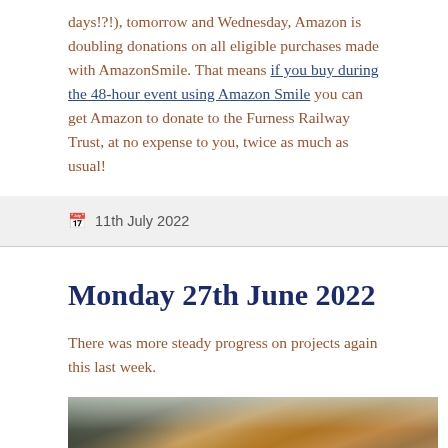days!?!), tomorrow and Wednesday, Amazon is doubling donations on all eligible purchases made with AmazonSmile. That means if you buy during the 48-hour event using Amazon Smile you can get Amazon to donate to the Furness Railway Trust, at no expense to you, twice as much as usual!
11th July 2022
Monday 27th June 2022
There was more steady progress on projects again this last week.
[Figure (photo): Interior workshop photo showing railway carriages being restored, with scaffolding and wooden carriage bodies visible inside a large shed.]